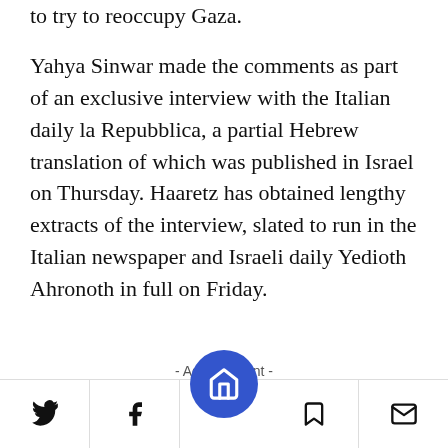to try to reoccupy Gaza.
Yahya Sinwar made the comments as part of an exclusive interview with the Italian daily la Repubblica, a partial Hebrew translation of which was published in Israel on Thursday. Haaretz has obtained lengthy extracts of the interview, slated to run in the Italian newspaper and Israeli daily Yedioth Ahronoth in full on Friday.
- Advertisment -
>> Analysis: Deadly Gaza clashes: Hamas is deliberately testing...